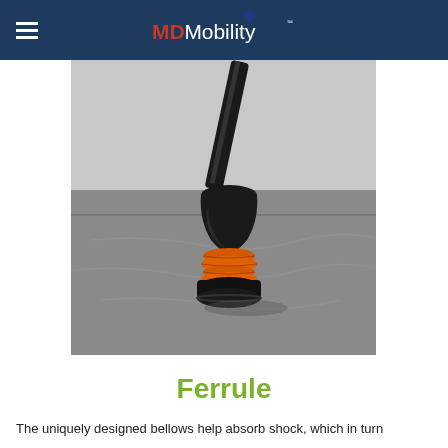MD Mobility
[Figure (photo): Close-up photograph of a Ferrule - a walking aid tip with black rubber bellows and orange accordion section resting on a textured grey surface, with a black cane pole inserted from above at an angle.]
Ferrule
The uniquely designed bellows help absorb shock, which in turn